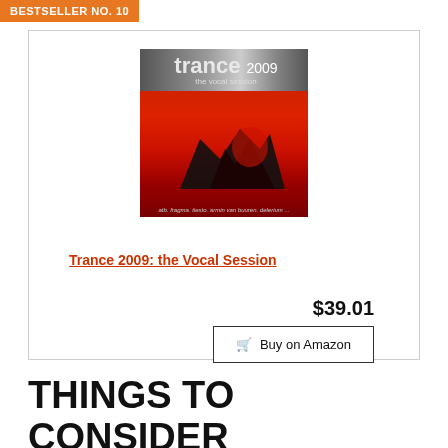BESTSELLER NO. 10
[Figure (photo): Album cover for Trance 2009: the Vocal Session — red background with dark silhouette and text reading 'trance 2009 the vocal session', artists listed at bottom: atb, fragma, tiesto, armin van buuren, delerium]
Trance 2009: the Vocal Session
$39.01
Buy on Amazon
THINGS TO CONSIDER WHEN CHOOSING THE